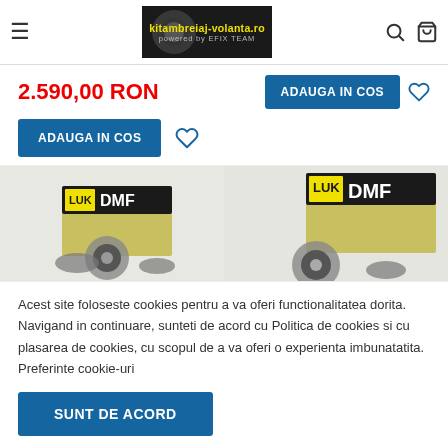[Figure (logo): kitambreiaj-volanta.ro logo with dark background, yellow brand text, and 'powered by EFIX TEAM' tagline]
2.590,00 RON
ADAUGA IN COS
ADAUGA IN COS
[Figure (photo): Two LuK DMF (Dual Mass Flywheel) product boxes with clutch components shown, side by side]
Acest site foloseste cookies pentru a va oferi functionalitatea dorita. Navigand in continuare, sunteti de acord cu Politica de cookies si cu plasarea de cookies, cu scopul de a va oferi o experienta imbunatatita. Preferinte cookie-uri
SUNT DE ACORD